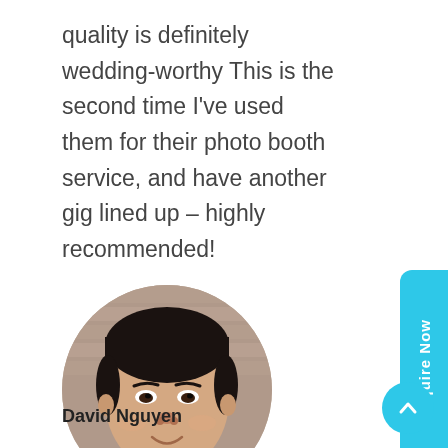quality is definitely wedding-worthy This is the second time I've used them for their photo booth service, and have another gig lined up – highly recommended!
[Figure (photo): Circular portrait photo of a young Asian man smiling, with short dark hair, wearing a white collared shirt, against a blurred brick wall background.]
David Nguyen